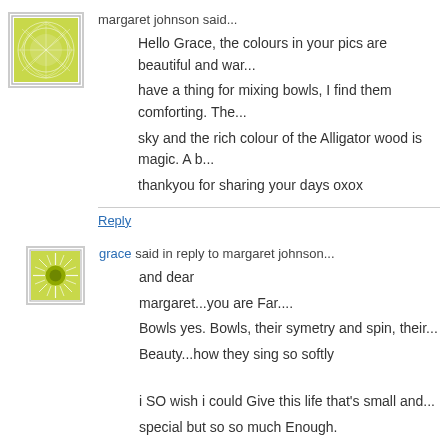[Figure (illustration): Green abstract leaf/circle pattern avatar for margaret johnson]
margaret johnson said...
Hello Grace, the colours in your pics are beautiful and war... have a thing for mixing bowls, I find them comforting. The... sky and the rich colour of the Alligator wood is magic. A b... thankyou for sharing your days oxox
Reply
[Figure (illustration): Green sunburst/circle avatar for grace]
grace said in reply to margaret johnson...
and dear
margaret...you are Far....
Bowls yes. Bowls, their symetry and spin, their...
Beauty...how they sing so softly

i SO wish i could Give this life that's small and...
special but so so much Enough.
Reply